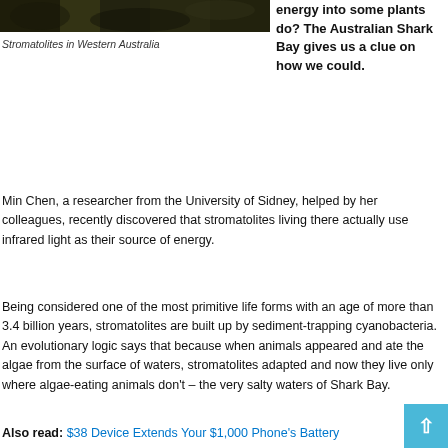[Figure (photo): Stromatolites in Western Australia — dark rocky formations, top portion of image visible]
Stromatolites in Western Australia
energy into some plants do? The Australian Shark Bay gives us a clue on how we could.
Min Chen, a researcher from the University of Sidney, helped by her colleagues, recently discovered that stromatolites living there actually use infrared light as their source of energy.
Being considered one of the most primitive life forms with an age of more than 3.4 billion years, stromatolites are built up by sediment-trapping cyanobacteria. An evolutionary logic says that because when animals appeared and ate the algae from the surface of waters, stromatolites adapted and now they live only where algae-eating animals don't – the very salty waters of Shark Bay.
Also read: $38 Device Extends Your $1,000 Phone's Battery